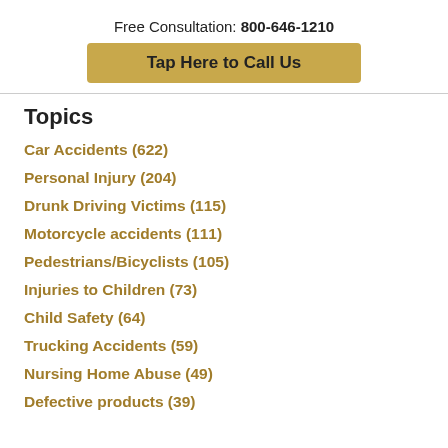Free Consultation: 800-646-1210
Tap Here to Call Us
Topics
Car Accidents (622)
Personal Injury (204)
Drunk Driving Victims (115)
Motorcycle accidents (111)
Pedestrians/Bicyclists (105)
Injuries to Children (73)
Child Safety (64)
Trucking Accidents (59)
Nursing Home Abuse (49)
Defective products (39)